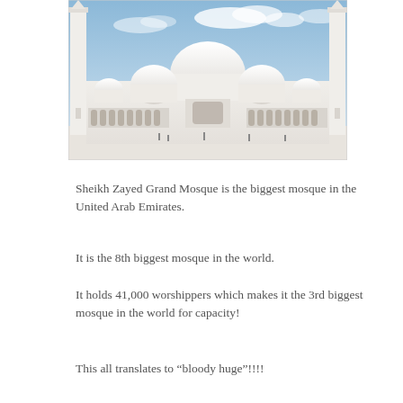[Figure (photo): Photograph of Sheikh Zayed Grand Mosque showing white domes, minarets, and colonnaded prayer hall under a blue sky]
Sheikh Zayed Grand Mosque is the biggest mosque in the United Arab Emirates.
It is the 8th biggest mosque in the world.
It holds 41,000 worshippers which makes it the 3rd biggest mosque in the world for capacity!
This all translates to “bloody huge”!!!!